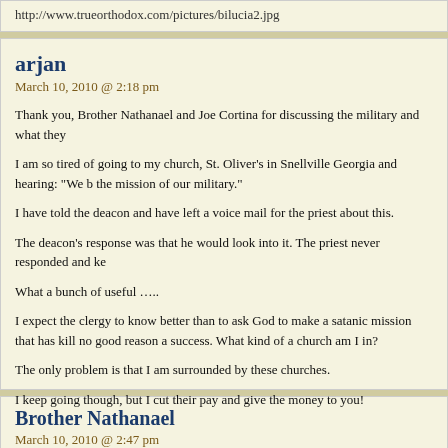http://www.trueorthodox.com/pictures/bilucia2.jpg
arjan
March 10, 2010 @ 2:18 pm
Thank you, Brother Nathanael and Joe Cortina for discussing the military and what they
I am so tired of going to my church, St. Oliver's in Snellville Georgia and hearing: "We b the mission of our military."
I have told the deacon and have left a voice mail for the priest about this.
The deacon's response was that he would look into it. The priest never responded and ke
What a bunch of useful …..
I expect the clergy to know better than to ask God to make a satanic mission that has kill no good reason a success. What kind of a church am I in?
The only problem is that I am surrounded by these churches.
I keep going though, but I cut their pay and give the money to you!
Brother Nathanael
March 10, 2010 @ 2:47 pm